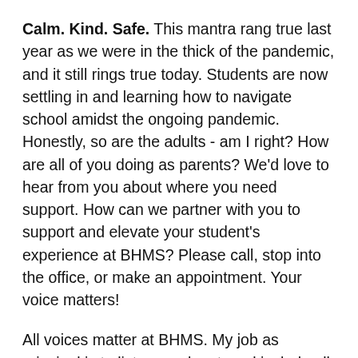Calm. Kind. Safe. This mantra rang true last year as we were in the thick of the pandemic, and it still rings true today. Students are now settling in and learning how to navigate school amidst the ongoing pandemic. Honestly, so are the adults - am I right? How are all of you doing as parents? We'd love to hear from you about where you need support. How can we partner with you to support and elevate your student's experience at BHMS? Please call, stop into the office, or make an appointment. Your voice matters!
All voices matter at BHMS. My job as principal is to listen, seek out, and include all voices. In turn, this helps inform our dialogue to gather ideas and brainstorm where we need to make decisions. So when I have the opportunity to include student voices in dialogue and decision making, it matters at...